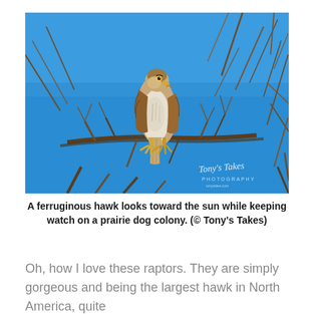[Figure (photo): A ferruginous hawk perched on bare tree branches against a bright blue sky, facing right toward the sun. The hawk has a white and brown speckled breast, brown wings, and yellow talons. A watermark in the lower right reads 'Tony's Takes Photography'.]
A ferruginous hawk looks toward the sun while keeping watch on a prairie dog colony. (© Tony's Takes)
Oh, how I love these raptors. They are simply gorgeous and being the largest hawk in North America, quite